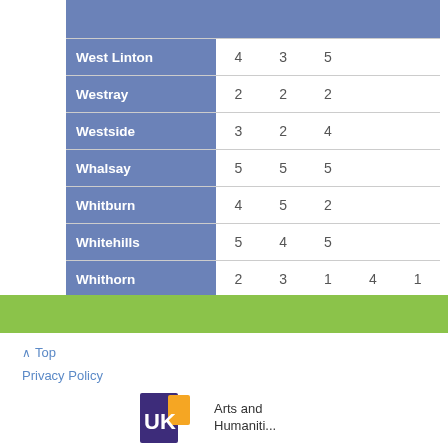|  |  |  |  |  |  |
| --- | --- | --- | --- | --- | --- |
| West Linton | 4 | 3 | 5 |  |  |
| Westray | 2 | 2 | 2 |  |  |
| Westside | 3 | 2 | 4 |  |  |
| Whalsay | 5 | 5 | 5 |  |  |
| Whitburn | 4 | 5 | 2 |  |  |
| Whitehills | 5 | 4 | 5 |  |  |
| Whithorn | 2 | 3 | 1 | 4 | 1 |
^ Top
Privacy Policy
[Figure (logo): UK Arts and Humanities logo with purple UK letters and yellow square]